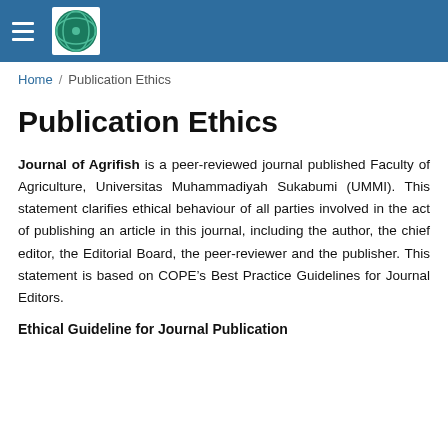Journal of Agrifish — site header with hamburger menu and logo
Home / Publication Ethics
Publication Ethics
Journal of Agrifish is a peer-reviewed journal published Faculty of Agriculture, Universitas Muhammadiyah Sukabumi (UMMI). This statement clarifies ethical behaviour of all parties involved in the act of publishing an article in this journal, including the author, the chief editor, the Editorial Board, the peer-reviewer and the publisher. This statement is based on COPE’s Best Practice Guidelines for Journal Editors.
Ethical Guideline for Journal Publication